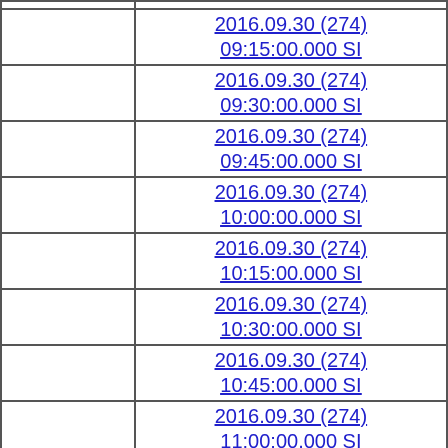|  | 2016.09.30 (274)
09:15:00.000 SI |
|  | 2016.09.30 (274)
09:30:00.000 SI |
|  | 2016.09.30 (274)
09:45:00.000 SI |
|  | 2016.09.30 (274)
10:00:00.000 SI |
|  | 2016.09.30 (274)
10:15:00.000 SI |
|  | 2016.09.30 (274)
10:30:00.000 SI |
|  | 2016.09.30 (274)
10:45:00.000 SI |
|  | 2016.09.30 (274)
11:00:00.000 SI |
|  | 2016.09.30 (274) |